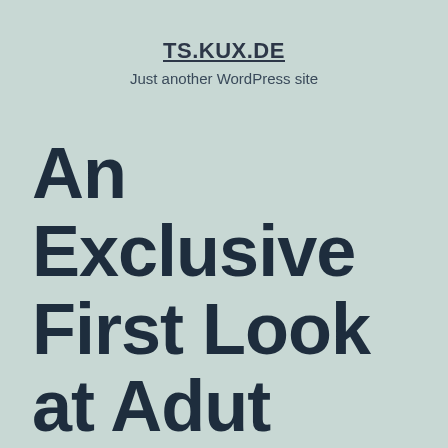TS.KUX.DE
Just another WordPress site
An Exclusive First Look at Adut Akech X VS Voices